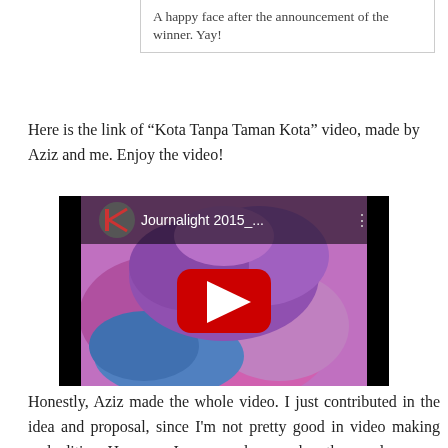A happy face after the announcement of the winner. Yay!
Here is the link of "Kota Tanpa Taman Kota" video, made by Aziz and me. Enjoy the video!
[Figure (screenshot): YouTube video thumbnail for 'Journalight 2015_...' showing colorful ink in water with a red YouTube play button overlay]
Honestly, Aziz made the whole video. I just contributed in the idea and proposal, since I'm not pretty good in video making and editing. However, I was very happy when the panel